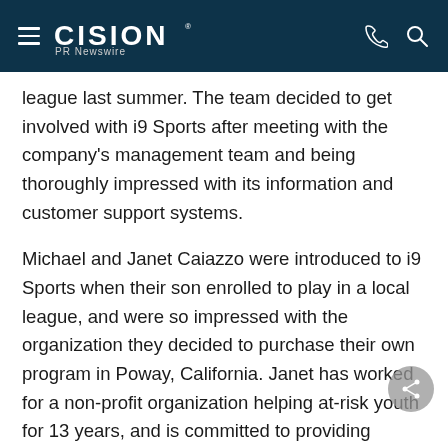CISION PR Newswire
league last summer. The team decided to get involved with i9 Sports after meeting with the company's management team and being thoroughly impressed with its information and customer support systems.
Michael and Janet Caiazzo were introduced to i9 Sports when their son enrolled to play in a local league, and were so impressed with the organization they decided to purchase their own program in Poway, California. Janet has worked for a non-profit organization helping at-risk youth for 13 years, and is committed to providing children in their community a healthy and valuable service. The league is operated